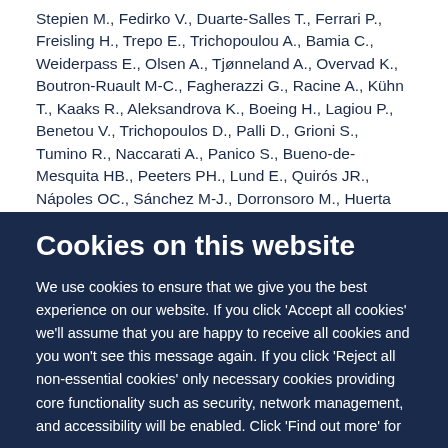Stepien M., Fedirko V., Duarte-Salles T., Ferrari P., Freisling H., Trepo E., Trichopoulou A., Bamia C., Weiderpass E., Olsen A., Tjønneland A., Overvad K., Boutron-Ruault M-C., Fagherazzi G., Racine A., Kühn T., Kaaks R., Aleksandrova K., Boeing H., Lagiou P., Benetou V., Trichopoulos D., Palli D., Grioni S., Tumino R., Naccarati A., Panico S., Bueno-de-Mesquita HB., Peeters PH., Lund E., Quirós JR., Nápoles OC., Sánchez M-J., Dorronsoro M., Huerta JM., Ardanaz E.
Cookies on this website
We use cookies to ensure that we give you the best experience on our website. If you click 'Accept all cookies' we'll assume that you are happy to receive all cookies and you won't see this message again. If you click 'Reject all non-essential cookies' only necessary cookies providing core functionality such as security, network management, and accessibility will be enabled. Click 'Find out more' for information on how to change your cookie settings.